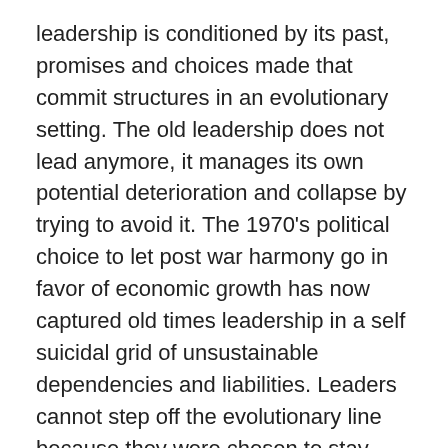leadership is conditioned by its past, promises and choices made that commit structures in an evolutionary setting. The old leadership does not lead anymore, it manages its own potential deterioration and collapse by trying to avoid it. The 1970's political choice to let post war harmony go in favor of economic growth has now captured old times leadership in a self suicidal grid of unsustainable dependencies and liabilities. Leaders cannot step off the evolutionary line because they were chosen to stay there and make the best of it. If they do they loose their leadership position and level of power. Only at times of elections new leadership potential can make a theoretical difference but once installed they are surrounded again by all the strings attached to the position. Only natural collaps can free us from these community management styles giving room for true renewal.